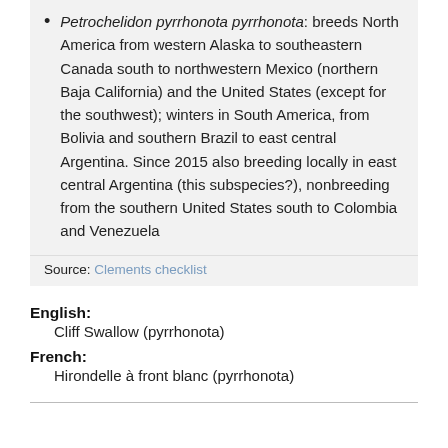Petrochelidon pyrrhonota pyrrhonota: breeds North America from western Alaska to southeastern Canada south to northwestern Mexico (northern Baja California) and the United States (except for the southwest); winters in South America, from Bolivia and southern Brazil to east central Argentina. Since 2015 also breeding locally in east central Argentina (this subspecies?), nonbreeding from the southern United States south to Colombia and Venezuela
Source: Clements checklist
English: Cliff Swallow (pyrrhonota)
French: Hirondelle à front blanc (pyrrhonota)